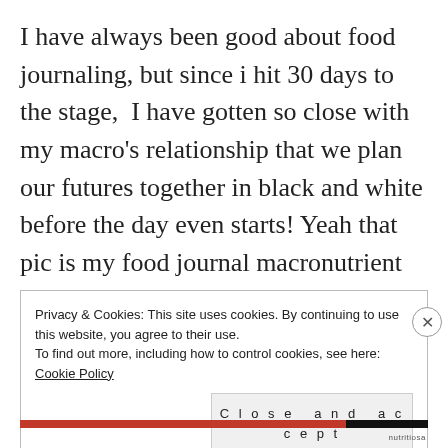I have always been good about food journaling, but since i hit 30 days to the stage,  I have gotten so close with my macro's relationship that we plan our futures together in black and white before the day even starts! Yeah that pic is my food journal macronutrient totals  for the next 24 hours, already planned out with total macros that I have already sent to my coach for his
Privacy & Cookies: This site uses cookies. By continuing to use this website, you agree to their use.
To find out more, including how to control cookies, see here: Cookie Policy
Close and accept